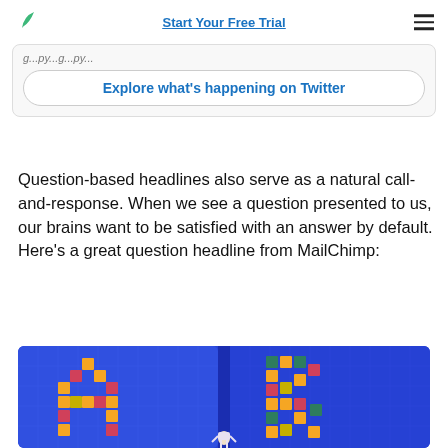Start Your Free Trial
g...py...g...py...
Explore what's happening on Twitter
Question-based headlines also serve as a natural call-and-response. When we see a question presented to us, our brains want to be satisfied with an answer by default. Here's a great question headline from MailChimp:
[Figure (illustration): A/B testing illustration showing letters A and B made of colorful tiles on a blue grid background, with a figure standing between them]